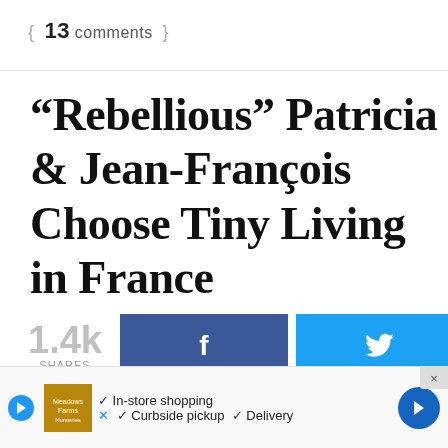{ 13 comments }
“Rebellious” Patricia & Jean-François Choose Tiny Living in France
[Figure (infographic): Social share buttons showing 1.4k shares, Facebook button, and Twitter bird button]
“Rebellious” — that’s a great way to describe the tiny house… al”